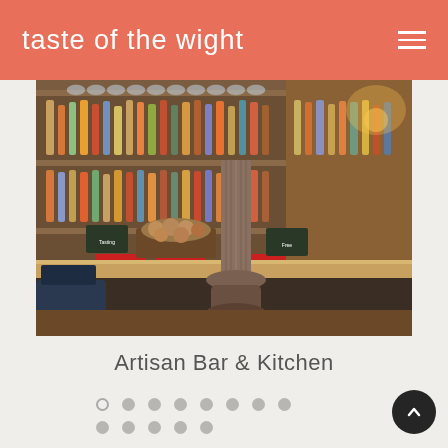taste of the wight
[Figure (photo): Interior photo of Artisan Bar & Kitchen showing a rustic wooden bar with a decorative turned column, shelves of bottles and glassware behind, bread in a wooden tray on the counter, red menus/placemats, and warm lighting]
Artisan Bar & Kitchen
Slideshow navigation dots (8 dots in row 1, 5 dots in row 2)